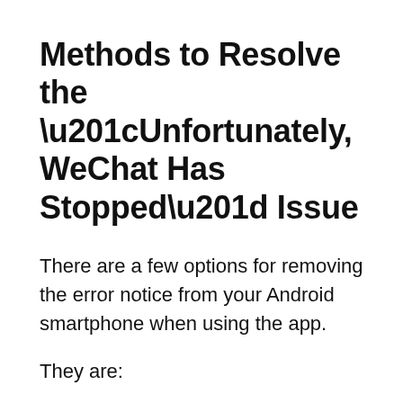Methods to Resolve the “Unfortunately, WeChat Has Stopped” Issue
There are a few options for removing the error notice from your Android smartphone when using the app.
They are:
Method 1: The Easiest Way To Fix WeChat Not Working On Android (Recommended)